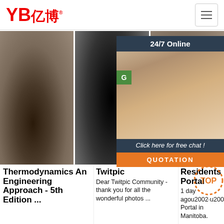[Figure (logo): YB亿博 logo in red with registered trademark symbol]
[Figure (screenshot): Website header with hamburger menu button]
[Figure (photo): 24/7 Online chat widget with customer service agent photo, green G button, 'Click here for free chat!' text, and orange QUOTATION button]
[Figure (photo): Three product photos showing industrial rubber hoses/tubes from different angles]
Thermodynamics An Engineering Approach - 5th Edition ...
Twitpic Dear Twitpic Community - thank you for all the wonderful photos ...
Residents Portal 1 day agou2002·u2002Community Portal in Manitoba.